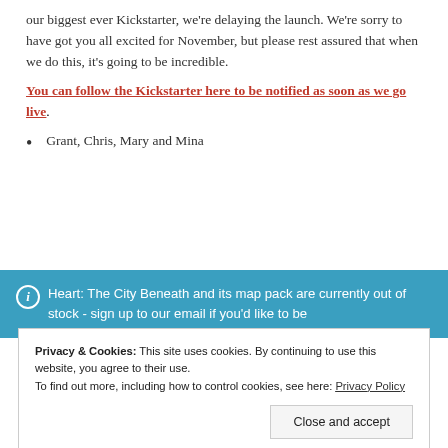our biggest ever Kickstarter, we're delaying the launch. We're sorry to have got you all excited for November, but please rest assured that when we do this, it's going to be incredible.
You can follow the Kickstarter here to be notified as soon as we go live.
Grant, Chris, Mary and Mina
Heart: The City Beneath and its map pack are currently out of stock - sign up to our email if you'd like to be
Privacy & Cookies: This site uses cookies. By continuing to use this website, you agree to their use. To find out more, including how to control cookies, see here: Privacy Policy
Close and accept